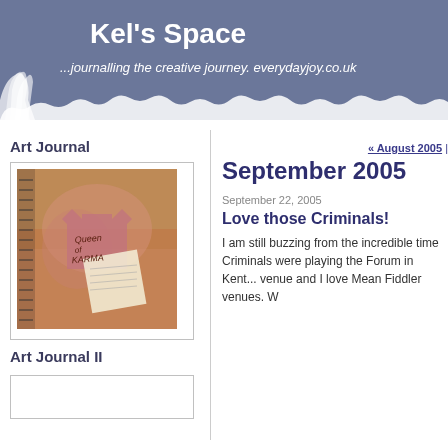Kel's Space — ...journalling the creative journey. everydayjoy.co.uk
Art Journal
[Figure (photo): Art journal page showing a mixed media image with text 'Queen of Karma' on reddish-pink background]
Art Journal II
« August 2005 |
September 2005
September 22, 2005
Love those Criminals!
I am still buzzing from the incredible time Criminals were playing the Forum in Kent... venue and I love Mean Fiddler venues. W